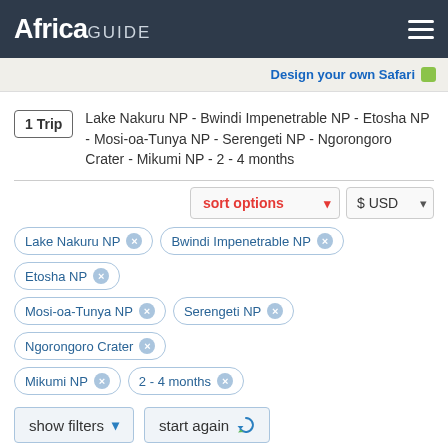AfricaGUIDE
Design your own Safari
1 Trip  Lake Nakuru NP - Bwindi Impenetrable NP - Etosha NP - Mosi-oa-Tunya NP - Serengeti NP - Ngorongoro Crater - Mikumi NP - 2 - 4 months
sort options  $ USD
Lake Nakuru NP ×
Bwindi Impenetrable NP ×
Etosha NP ×
Mosi-oa-Tunya NP ×
Serengeti NP ×
Ngorongoro Crater ×
Mikumi NP ×
2 - 4 months ×
show filters ▾   start again ↺
Ultimate African Overlander - Nairobi to Cape Town
58 days